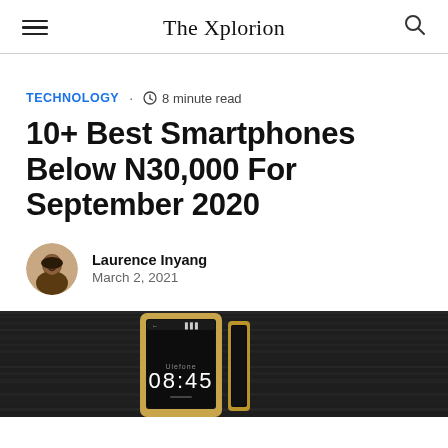The Xplorion
TECHNOLOGY · 8 minute read
10+ Best Smartphones Below N30,000 For September 2020
Laurence Inyang
March 2, 2021
[Figure (photo): A smartphone with gold case showing time 08:45 on screen, placed on a dark wood surface, with another gold device beside it.]